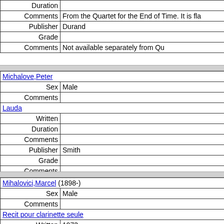| Duration |  |
| Comments | From the Quartet for the End of Time. It is fla |
| Publisher | Durand |
| Grade |  |
| Comments | Not available separately from Qu |
| Michalove,Peter |  |
| Sex | Male |
| Comments |  |
| Lauda |  |
| Written |  |
| Duration |  |
| Comments |  |
| Publisher | Smith |
| Grade |  |
| Comments |  |
| Mihalovici,Marcel (1898-) |  |
| Sex | Male |
| Comments |  |
| Recit pour clarinette seule |  |
| Written | 1973 |
| Duration |  |